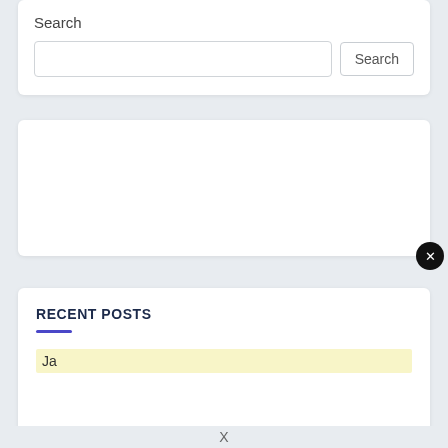Search
[Figure (screenshot): Search input field and Search button]
[Figure (screenshot): White advertisement/content box with close (X) button in bottom-right corner]
RECENT POSTS
Ja...
X